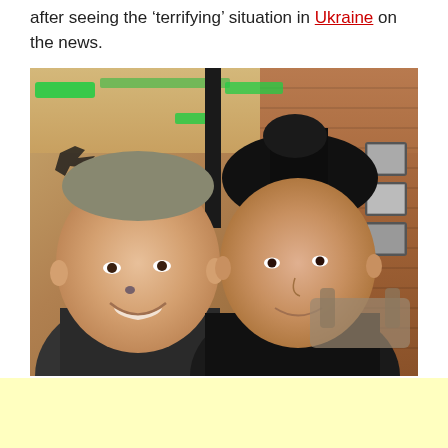after seeing the 'terrifying' situation in Ukraine on the news.
[Figure (photo): A selfie photo of a man and a woman smiling together inside a restaurant or cafe. The man is on the left with short hair and a small tattoo near his eye. The woman has long dark hair pulled back. The background shows a brick wall, green accent lighting, a decorative star shape, and framed pictures on the wall.]
[Advertisement block]